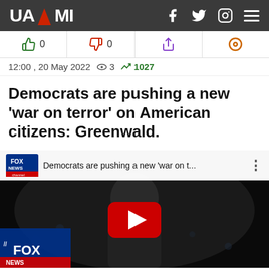UAZMI
👍 0   👎 0   ↑   ⊙
12:00 , 20 May 2022   👁 3   📈 1027
Democrats are pushing a new 'war on terror' on American citizens: Greenwald.
[Figure (screenshot): YouTube video embed showing Fox News segment titled 'Democrats are pushing a new war on t...' with a man visible in the video frame and YouTube play button overlay. Fox News logo visible in bottom left corner.]